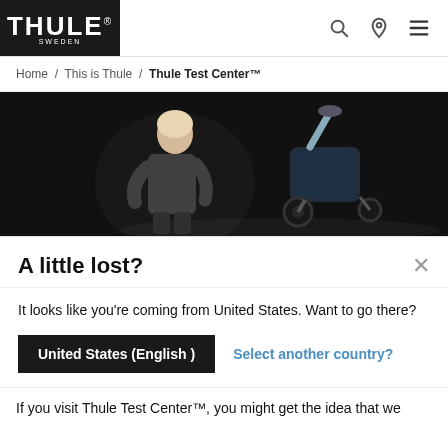THULE SWEDEN
Home / This is Thule / Thule Test Center™
[Figure (photo): A woman in dark athletic wear looking down at a dark-colored baby stroller against a black background]
A little lost?
It looks like you're coming from United States. Want to go there?
United States (English )
Select another country?
If you visit Thule Test Center™, you might get the idea that we